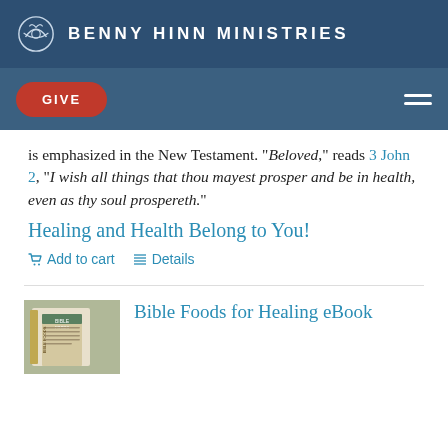BENNY HINN MINISTRIES
GIVE
is emphasized in the New Testament. "Beloved," reads 3 John 2, "I wish all things that thou mayest prosper and be in health, even as thy soul prospereth."
Healing and Health Belong to You!
Add to cart   Details
Bible Foods for Healing eBook